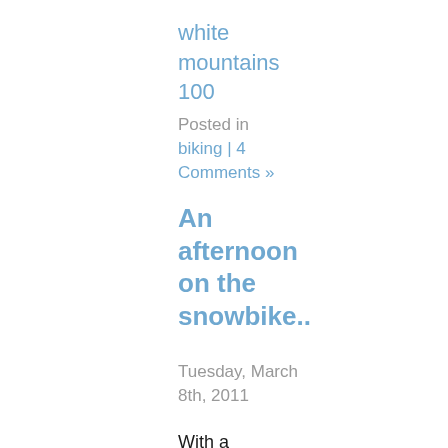white mountains 100
Posted in biking | 4 Comments »
An afternoon on the snowbike..
Tuesday, March 8th, 2011
With a Monday free